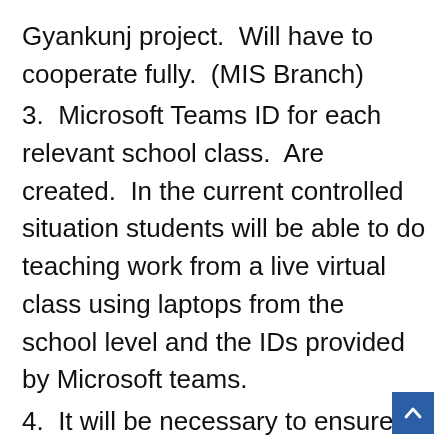Gyankunj project.  Will have to cooperate fully.  (MIS Branch)
3.  Microsoft Teams ID for each relevant school class.  Are created.  In the current controlled situation students will be able to do teaching work from a live virtual class using laptops from the school level and the IDs provided by Microsoft teams.
4.  It will be necessary to ensure effective and maximum utilization of the resources provided under the primary level Gyankunj project.
Aapshree is advised to take action as per t details involved, to inform at school level